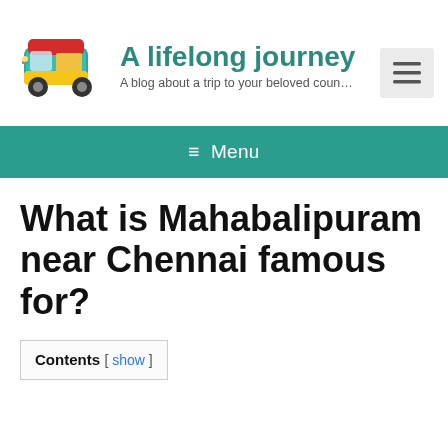[Figure (logo): Auto-rickshaw (tuk-tuk) illustration in yellow, teal, and red colors — blog logo]
A lifelong journey
A blog about a trip to your beloved coun…
[Figure (other): Hamburger menu button (three horizontal lines) on light grey background]
≡ Menu
What is Mahabalipuram near Chennai famous for?
Contents [ show ]